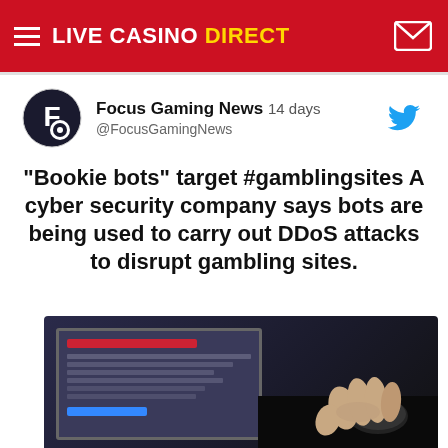LIVE CASINO DIRECT
Focus Gaming News 14 days @FocusGamingNews
“Bookie bots” target #gamblingsites A cyber security company says bots are being used to carry out DDoS attacks to disrupt gambling sites.
[Figure (photo): A hand using a computer mouse next to a laptop screen showing a loading/error interface, dark background suggesting cybersecurity context.]